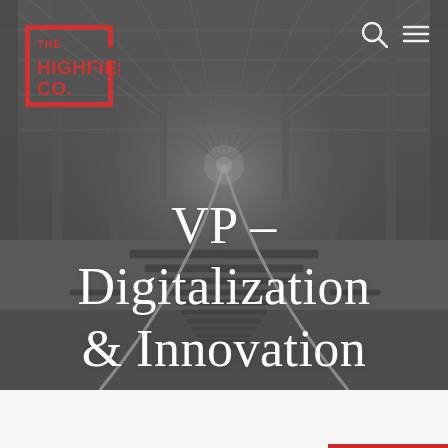[Figure (photo): Black and white photo of railway tracks receding into the distance through a metal bridge/tunnel framework, viewed from a first-person perspective on the tracks.]
[Figure (logo): The Highfield Co. logo — red rectangular border with white text reading THE HIGHFIELD CO.]
VP – Digitalization & Innovation